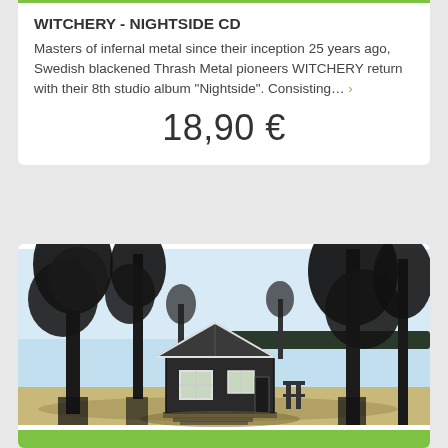WITCHERY - NIGHTSIDE CD
Masters of infernal metal since their inception 25 years ago, Swedish blackened Thrash Metal pioneers WITCHERY return with their 8th studio album “Nightside”. Consisting… ›
18,90 €
[Figure (illustration): Album artwork showing a dark sketch-style illustration of a small cabin or cottage in a Nordic landscape with tall pine trees, a lake in the background, and sandy ground in the foreground. Dark charcoal/ink style with light blue sky and water.]